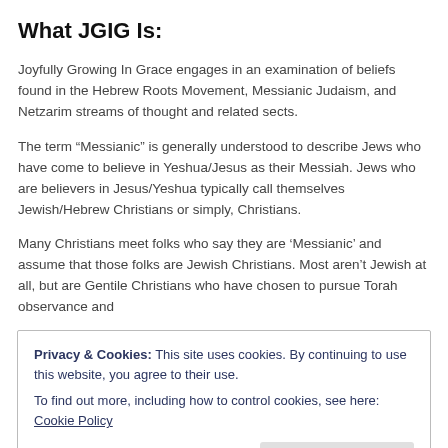What JGIG Is:
Joyfully Growing In Grace engages in an examination of beliefs found in the Hebrew Roots Movement, Messianic Judaism, and Netzarim streams of thought and related sects.
The term “Messianic” is generally understood to describe Jews who have come to believe in Yeshua/Jesus as their Messiah. Jews who are believers in Jesus/Yeshua typically call themselves Jewish/Hebrew Christians or simply, Christians.
Many Christians meet folks who say they are ‘Messianic’ and assume that those folks are Jewish Christians. Most aren’t Jewish at all, but are Gentile Christians who have chosen to pursue Torah observance and
Privacy & Cookies: This site uses cookies. By continuing to use this website, you agree to their use.
To find out more, including how to control cookies, see here: Cookie Policy
observance/pursuance for Christians, persuading many believers that